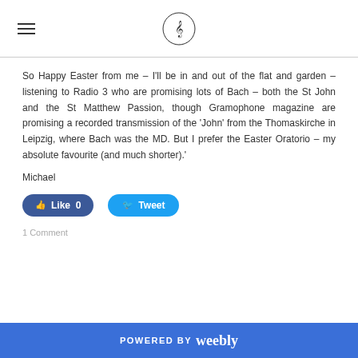[hamburger menu icon] [music logo circle]
So Happy Easter from me – I'll be in and out of the flat and garden – listening to Radio 3 who are promising lots of Bach – both the St John and the St Matthew Passion, though Gramophone magazine are promising a recorded transmission of the 'John' from the Thomaskirche in Leipzig, where Bach was the MD. But I prefer the Easter Oratorio – my absolute favourite (and much shorter).'
Michael
[Figure (other): Like 0 button (Facebook) and Tweet button (Twitter)]
1 Comment
POWERED BY weebly